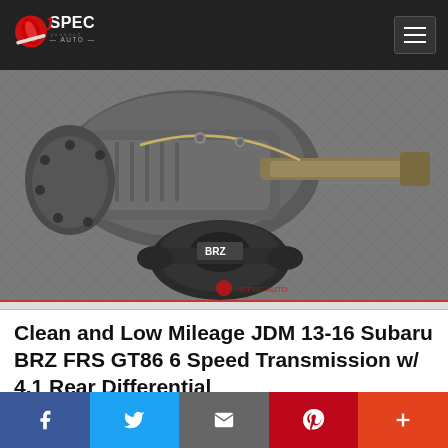JSPEC AUTO
[Figure (photo): JDM Subaru BRZ FRS GT86 6 Speed Transmission with 4.1 Rear Differential unit photographed on a gray textured surface]
Clean and Low Mileage JDM 13-16 Subaru BRZ FRS GT86 6 Speed Transmission w/ 4.1 Rear Differential